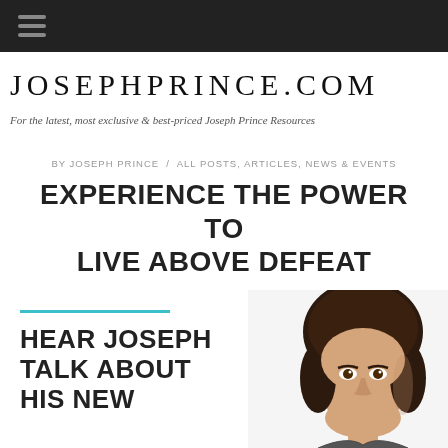JOSEPHPRINCE.COM
For the latest, most exclusive & best-priced Joseph Prince Resources
BY JOSEPH PRINCE / ALL POSTS, ARTICLES, NEWS & EVENTS
EXPERIENCE THE POWER TO LIVE ABOVE DEFEAT
[Figure (photo): Portrait photo of Joseph Prince smiling, with dark hair, partially visible on right side of page]
HEAR JOSEPH TALK ABOUT HIS NEW